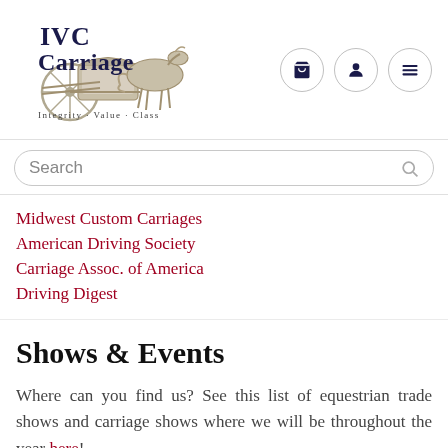[Figure (logo): IVC Carriage logo with horse and carriage illustration, text reads 'IVC Carriage' and tagline 'Integrity · Value · Class']
Midwest Custom Carriages
American Driving Society
Carriage Assoc. of America
Driving Digest
Shows & Events
Where can you find us? See this list of equestrian trade shows and carriage shows where we will be throughout the year here!